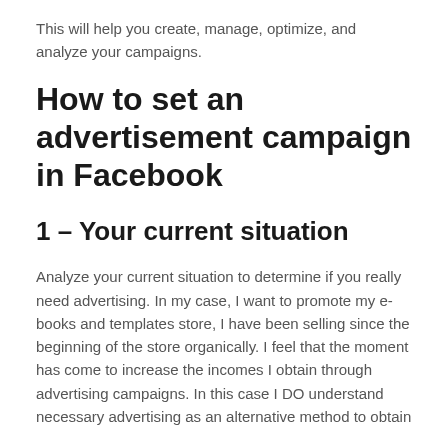This will help you create, manage, optimize, and analyze your campaigns.
How to set an advertisement campaign in Facebook
1 – Your current situation
Analyze your current situation to determine if you really need advertising. In my case, I want to promote my e-books and templates store, I have been selling since the beginning of the store organically. I feel that the moment has come to increase the incomes I obtain through advertising campaigns. In this case I DO understand necessary advertising as an alternative method to obtain